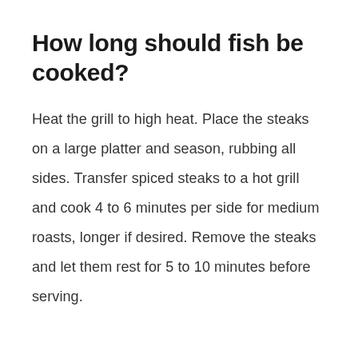How long should fish be cooked?
Heat the grill to high heat. Place the steaks on a large platter and season, rubbing all sides. Transfer spiced steaks to a hot grill and cook 4 to 6 minutes per side for medium roasts, longer if desired. Remove the steaks and let them rest for 5 to 10 minutes before serving.